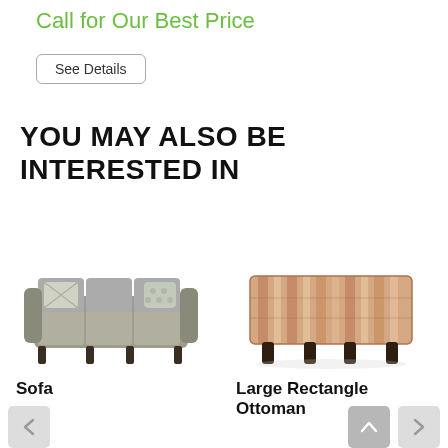Call for Our Best Price
See Details
YOU MAY ALSO BE INTERESTED IN
[Figure (photo): Gray upholstered sofa with two decorative throw pillows on dark legs]
Sofa
[Figure (photo): Large rectangle ottoman with striped pink and neutral fabric on dark legs]
Large Rectangle Ottoman